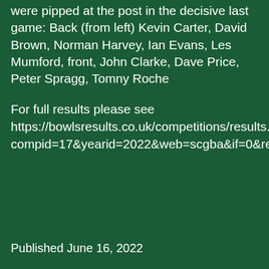were pipped at the post in the decisive last game: Back (from left) Kevin Carter, David Brown, Norman Harvey, Ian Evans, Les Mumford, front, John Clarke, Dave Price, Peter Spragg, Tomny Roche
For full results please see https://bowlsresults.co.uk/competitions/results.php?compid=17&yearid=2022&web=scgba&if=0&ret=0&qual=0&ord=0
Published June 16, 2022